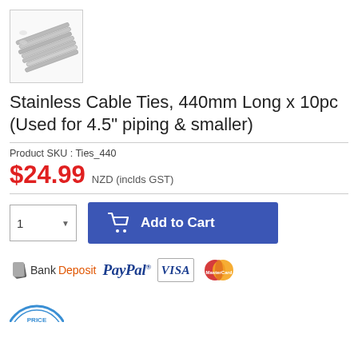[Figure (photo): Thumbnail image of stainless cable ties bundled together, metallic silver color, shown at an angle]
Stainless Cable Ties, 440mm Long x 10pc (Used for 4.5" piping & smaller)
Product SKU : Ties_440
$24.99 NZD (inclds GST)
[Figure (infographic): Payment method logos: BankDeposit, PayPal, Visa, MasterCard]
[Figure (infographic): Price badge/seal partially visible at bottom]